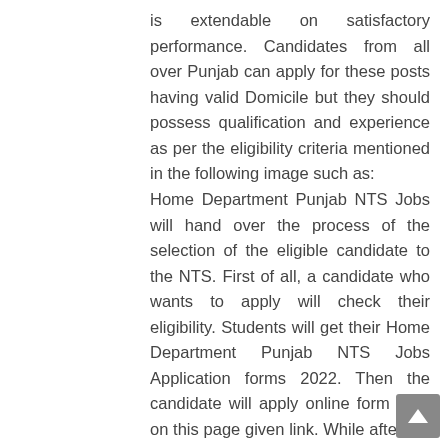is extendable on satisfactory performance. Candidates from all over Punjab can apply for these posts having valid Domicile but they should possess qualification and experience as per the eligibility criteria mentioned in the following image such as: Home Department Punjab NTS Jobs will hand over the process of the selection of the eligible candidate to the NTS. First of all, a candidate who wants to apply will check their eligibility. Students will get their Home Department Punjab NTS Jobs Application forms 2022. Then the candidate will apply online form here on this page given link. While after the Home Department Punjab NTS Jobs Application forms 2022 submission we will provide here online NTS test roll number slips. After the NTS Written-test, we will upload